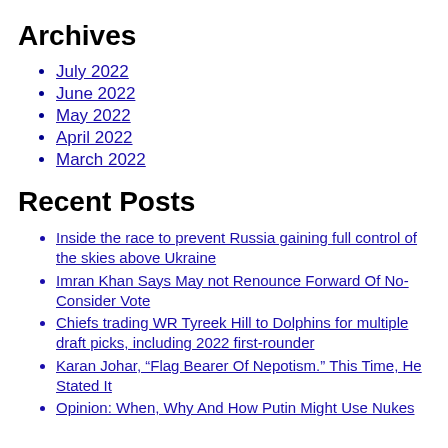Archives
July 2022
June 2022
May 2022
April 2022
March 2022
Recent Posts
Inside the race to prevent Russia gaining full control of the skies above Ukraine
Imran Khan Says May not Renounce Forward Of No-Consider Vote
Chiefs trading WR Tyreek Hill to Dolphins for multiple draft picks, including 2022 first-rounder
Karan Johar, “Flag Bearer Of Nepotism.” This Time, He Stated It
Opinion: When, Why And How Putin Might Use Nukes